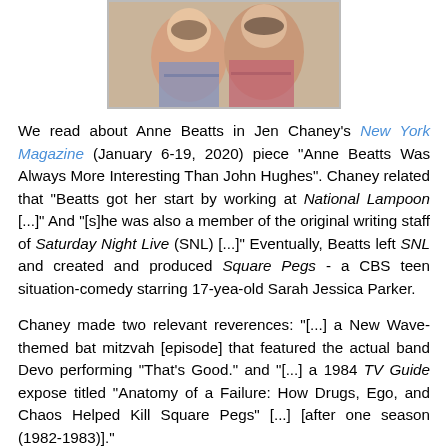[Figure (photo): Photograph of two young women smiling, posed with hands under their chins, wearing colorful patterned clothing]
We read about Anne Beatts in Jen Chaney's New York Magazine (January 6-19, 2020) piece "Anne Beatts Was Always More Interesting Than John Hughes". Chaney related that "Beatts got her start by working at National Lampoon [...]" And "[s]he was also a member of the original writing staff of Saturday Night Live (SNL) [...]" Eventually, Beatts left SNL and created and produced Square Pegs - a CBS teen situation-comedy starring 17-yea-old Sarah Jessica Parker.
Chaney made two relevant reverences: "[...] a New Wave-themed bat mitzvah [episode] that featured the actual band Devo performing "That's Good." and "[...] a 1984 TV Guide expose titled "Anatomy of a Failure: How Drugs, Ego, and Chaos Helped Kill Square Pegs" [...] [after one season (1982-1983)]."